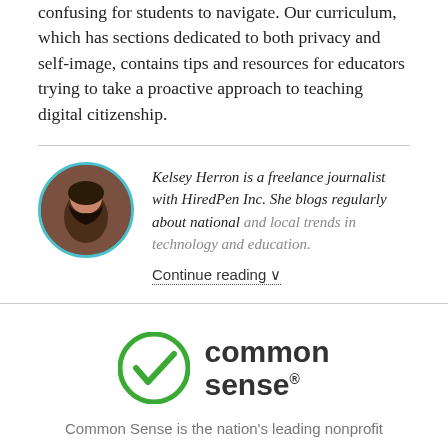confusing for students to navigate. Our curriculum, which has sections dedicated to both privacy and self-image, contains tips and resources for educators trying to take a proactive approach to teaching digital citizenship.
Kelsey Herron is a freelance journalist with HiredPen Inc. She blogs regularly about national and local trends in technology and education.
Continue reading ∨
[Figure (logo): Common Sense logo — green circle with white checkmark next to bold text reading 'common sense' with registered trademark symbol]
Common Sense is the nation's leading nonprofit